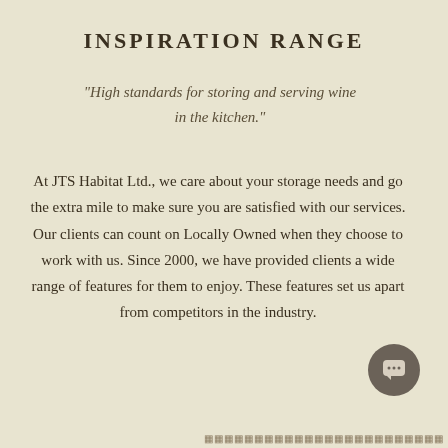INSPIRATION RANGE
"High standards for storing and serving wine in the kitchen."
At JTS Habitat Ltd., we care about your storage needs and go the extra mile to make sure you are satisfied with our services. Our clients can count on Locally Owned when they choose to work with us. Since 2000, we have provided clients a wide range of features for them to enjoy. These features set us apart from competitors in the industry.
[Figure (other): Dark grey circular chat button with speech bubble icon]
Footer bar with decorative icon pattern